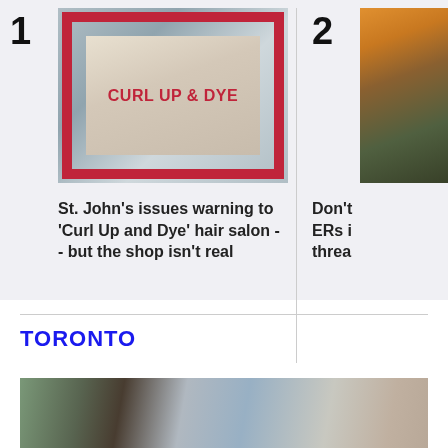1
[Figure (photo): Storefront window with bold red/pink frame and 'CURL UP & DYE' text visible through the glass]
St. John's issues warning to 'Curl Up and Dye' hair salon -- but the shop isn't real
2
[Figure (photo): Partial photo of a building exterior, appears to show an orange/yellow building]
Don't ERs i threa
TORONTO
[Figure (photo): Street scene in Toronto showing storefronts with greenery and blue sky]